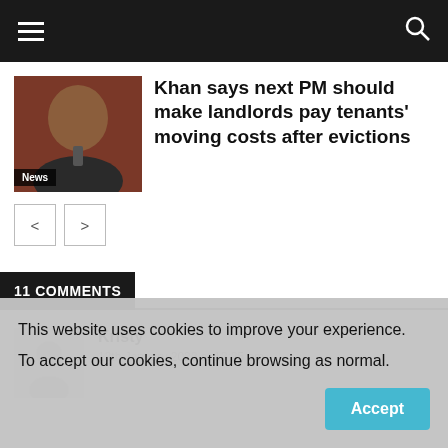Navigation bar with hamburger menu and search icon
[Figure (photo): Photo of Sadiq Khan speaking at a microphone with 'News' label overlay]
Khan says next PM should make landlords pay tenants' moving costs after evictions
< >
11 COMMENTS
Kristy
13th January 2022 at 12:25 pm
This website uses cookies to improve your experience.
To accept our cookies, continue browsing as normal.